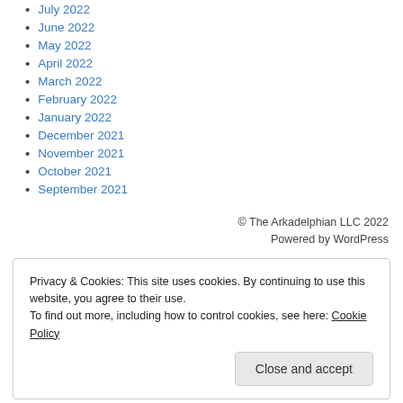July 2022
June 2022
May 2022
April 2022
March 2022
February 2022
January 2022
December 2021
November 2021
October 2021
September 2021
© The Arkadelphian LLC 2022
Powered by WordPress
Privacy & Cookies: This site uses cookies. By continuing to use this website, you agree to their use.
To find out more, including how to control cookies, see here: Cookie Policy